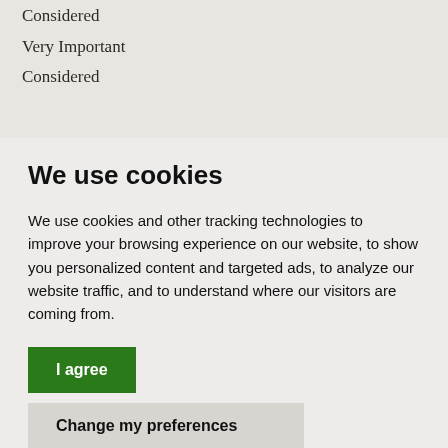Considered
Very Important
Considered
We use cookies
We use cookies and other tracking technologies to improve your browsing experience on our website, to show you personalized content and targeted ads, to analyze our website traffic, and to understand where our visitors are coming from.
I agree
Change my preferences